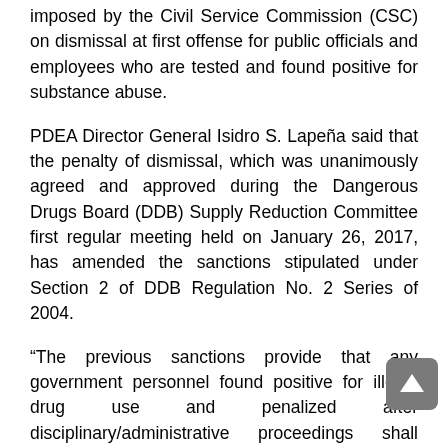imposed by the Civil Service Commission (CSC) on dismissal at first offense for public officials and employees who are tested and found positive for substance abuse.
PDEA Director General Isidro S. Lapeña said that the penalty of dismissal, which was unanimously agreed and approved during the Dangerous Drugs Board (DDB) Supply Reduction Committee first regular meeting held on January 26, 2017, has amended the sanctions stipulated under Section 2 of DDB Regulation No. 2 Series of 2004.
“The previous sanctions provide that any government personnel found positive for illegal drug use and penalized after disciplinary/administrative proceedings shall undergo the recommended treatment and rehabilitation program. But now we have adopted a one-strike policy of outright dismissal for offenders,” Lapeña said.
Under Article III, Section 36(d) of Republic Act 9165, or